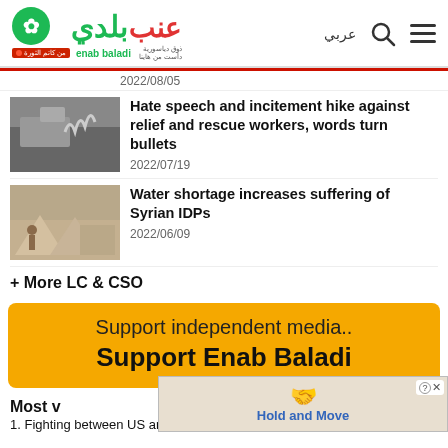[Figure (logo): Enab Baladi news website logo with Arabic text and green branding]
عربي
2022/08/05
[Figure (photo): Burned car or fire-related news image]
Hate speech and incitement hike against relief and rescue workers, words turn bullets
2022/07/19
[Figure (photo): Relief workers or rescue scene photo]
Water shortage increases suffering of Syrian IDPs
2022/06/09
[Figure (photo): IDP camp with tent and person]
+ More LC & CSO
Support independent media.. Support Enab Baladi
Most v
1. Fighting between US and Iran escalates in